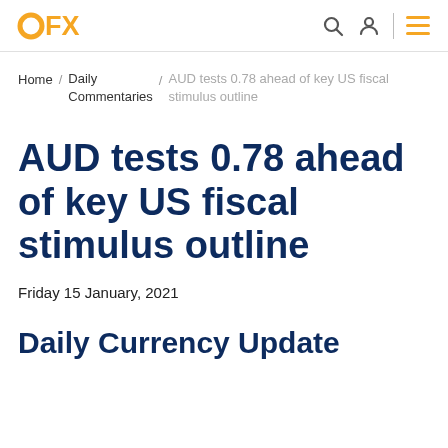OFX
Home / Daily Commentaries / AUD tests 0.78 ahead of key US fiscal stimulus outline
AUD tests 0.78 ahead of key US fiscal stimulus outline
Friday 15 January, 2021
Daily Currency Update